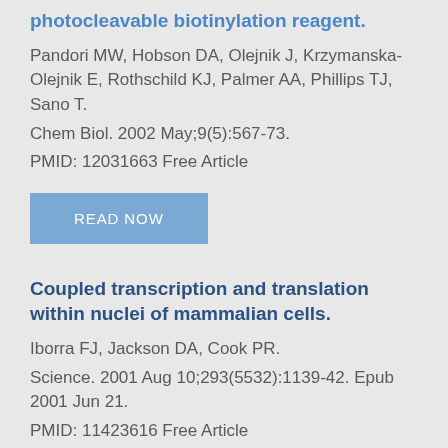photocleavable biotinylation reagent.
Pandori MW, Hobson DA, Olejnik J, Krzymanska-Olejnik E, Rothschild KJ, Palmer AA, Phillips TJ, Sano T.
Chem Biol. 2002 May;9(5):567-73.
PMID: 12031663 Free Article
READ NOW
Coupled transcription and translation within nuclei of mammalian cells.
Iborra FJ, Jackson DA, Cook PR.
Science. 2001 Aug 10;293(5532):1139-42. Epub 2001 Jun 21.
PMID: 11423616 Free Article